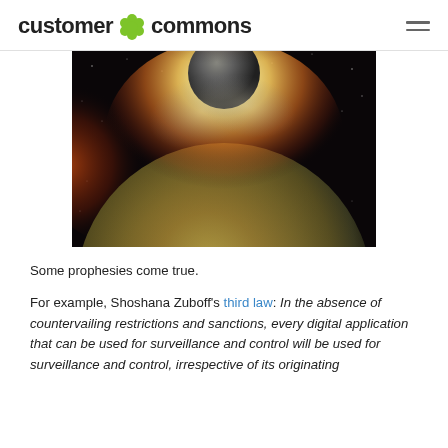customer commons
[Figure (photo): Digital space illustration showing a large planet in the foreground with a glowing collision or explosion near the top, with a smaller moon or planet colliding, set against a dark starry background with warm orange and yellow light emanating from the impact.]
Some prophesies come true.
For example, Shoshana Zuboff's third law: In the absence of countervailing restrictions and sanctions, every digital application that can be used for surveillance and control will be used for surveillance and control, irrespective of its originating